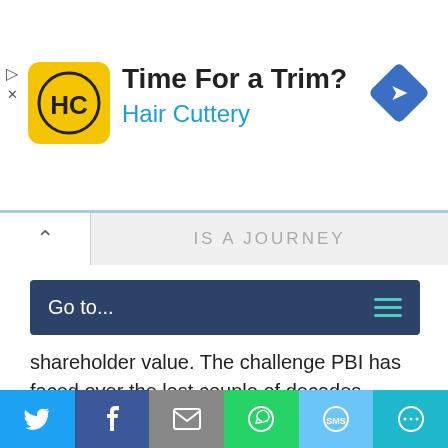[Figure (screenshot): Hair Cuttery advertisement banner with logo, 'Time For a Trim?' headline, and navigation arrow icon]
IS A JOURNEY
Go to...
shareholder value. The challenge PBI has faced over the last couple of decades, however, is that the world has evolved and PBI has been unable to adapt.
This is a company that once traded at ~$63/share (December 1998). Today, PBI languishes around $9/share. This significant
[Figure (screenshot): Social sharing bar with Twitter, Facebook, Email, WhatsApp, SMS, and More buttons]